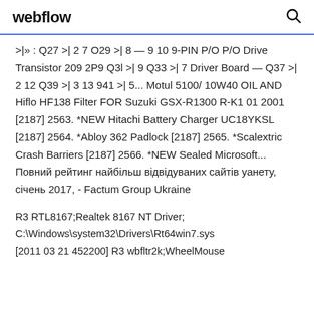webflow
>|» : Q27 >| 2 7 O29 >| 8 — 9 10 9-PIN P/O P/O Drive Transistor 209 2P9 Q3l >| 9 Q33 >| 7 Driver Board — Q37 >| 2 12 Q39 >| 3 13 941 >| 5... Motul 5100/ 10W40 OIL AND Hiflo HF138 Filter FOR Suzuki GSX-R1300 R-K1 01 2001 [2187] 2563. *NEW Hitachi Battery Charger UC18YKSL [2187] 2564. *Abloy 362 Padlock [2187] 2565. *Scalextric Crash Barriers [2187] 2566. *NEW Sealed Microsoft... Повний рейтинг найбільш відвідуваних сайтів уанету, січень 2017, - Factum Group Ukraine
R3 RTL8167;Realtek 8167 NT Driver; C:\Windows\system32\Drivers\Rt64win7.sys [2011 03 21 452200] R3 wbfltr2k;WheelMouse